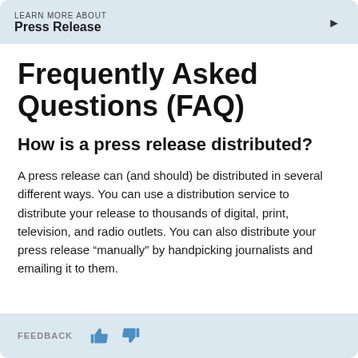LEARN MORE ABOUT
Press Release
Frequently Asked Questions (FAQ)
How is a press release distributed?
A press release can (and should) be distributed in several different ways. You can use a distribution service to distribute your release to thousands of digital, print, television, and radio outlets. You can also distribute your press release “manually” by handpicking journalists and emailing it to them.
FEEDBACK